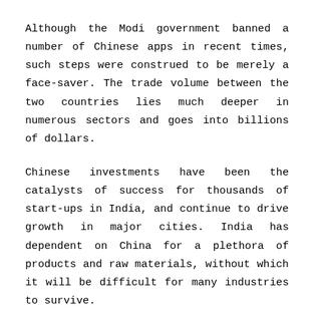Although the Modi government banned a number of Chinese apps in recent times, such steps were construed to be merely a face-saver. The trade volume between the two countries lies much deeper in numerous sectors and goes into billions of dollars.
Chinese investments have been the catalysts of success for thousands of start-ups in India, and continue to drive growth in major cities. India has dependent on China for a plethora of products and raw materials, without which it will be difficult for many industries to survive.
Except for military hardware, India imports almost everything from China, a country with whom it is engaged in a tense stand-off in Ladakh. Both the nations have amassed thousands of troops at the sight of the clash, supported by large quantities of military equipment.